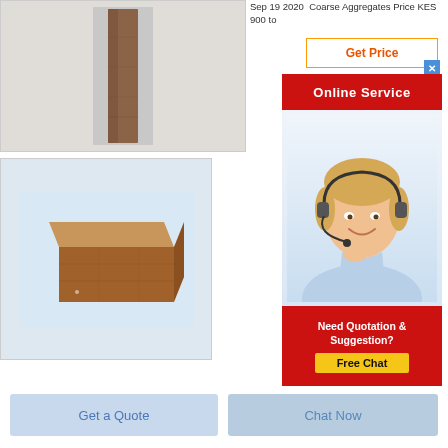[Figure (photo): Photo of a narrow brown/grey brick or stone strip standing vertically on a light grey background]
Sep 19 2020  Coarse Aggregates Price KES 900 to
[Figure (other): Get Price button with orange border and red text on white background]
[Figure (other): Online Service red banner with white bold text]
[Figure (photo): Customer service representative woman with headset smiling on blue-white gradient background]
[Figure (other): Need Quotation & Suggestion? Free Chat button on red background with yellow button]
[Figure (photo): Photo of a brown rectangular brick block on light grey/blue background]
[Figure (other): Get a Quote light blue button]
[Figure (other): Chat Now light blue button]